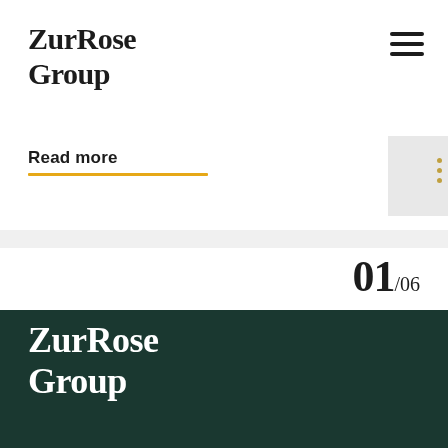ZurRose Group
Read more
01/06
[Figure (logo): ZurRose Group logo in white on dark green background at bottom of page]
ZurRose Group